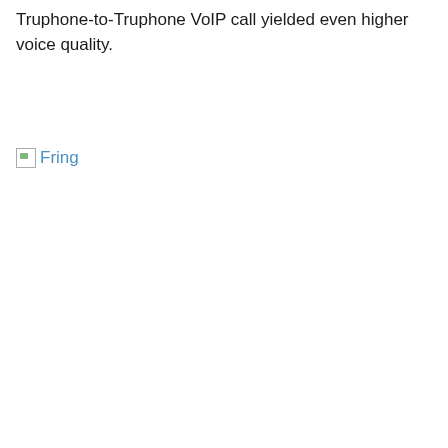Truphone-to-Truphone VoIP call yielded even higher voice quality.
[Figure (other): Broken image placeholder with alt text 'Fring' shown as a small image icon followed by the text 'Fring' in blue link color]